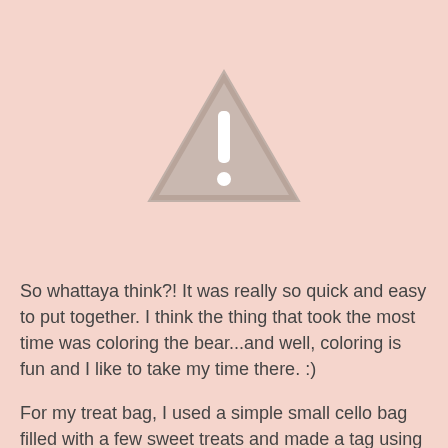[Figure (illustration): Warning triangle icon with exclamation mark, gray/beige colored on pink background]
So whattaya think?! It was really so quick and easy to put together. I think the thing that took the most time was coloring the bear...and well, coloring is fun and I like to take my time there. :)
For my treat bag, I used a simple small cello bag filled with a few sweet treats and made a tag using the heart balloon from the Love Everywhere set and sentiment from Beary Special! The ribbon is from Valentine Key Ingredients and I added a bit of bling to my balloon with Taylor's Tiny Twinkles